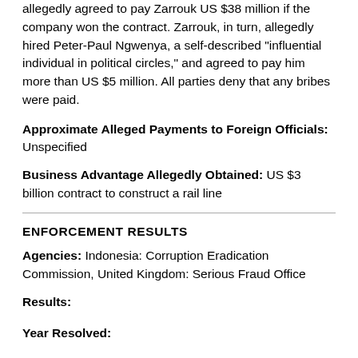allegedly agreed to pay Zarrouk US $38 million if the company won the contract. Zarrouk, in turn, allegedly hired Peter-Paul Ngwenya, a self-described "influential individual in political circles," and agreed to pay him more than US $5 million. All parties deny that any bribes were paid.
Approximate Alleged Payments to Foreign Officials: Unspecified
Business Advantage Allegedly Obtained: US $3 billion contract to construct a rail line
ENFORCEMENT RESULTS
Agencies: Indonesia: Corruption Eradication Commission, United Kingdom: Serious Fraud Office
Results:
Year Resolved: